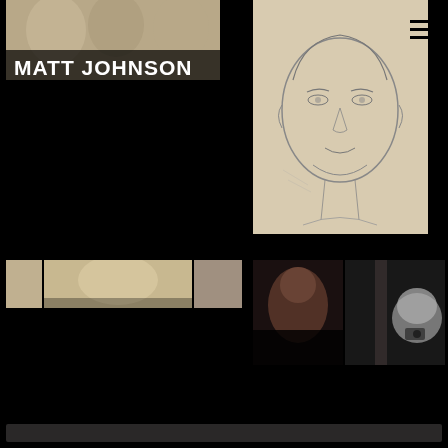[Figure (photo): Photo collage with text overlay reading 'MATT JOHNSON' over faces]
[Figure (illustration): Pencil sketch portrait of a man's face]
[Figure (photo): Navigation hamburger menu icon (three horizontal lines)]
[Figure (photo): Strip of small cropped face photos]
[Figure (photo): Two dark photographs side by side showing partial figures]